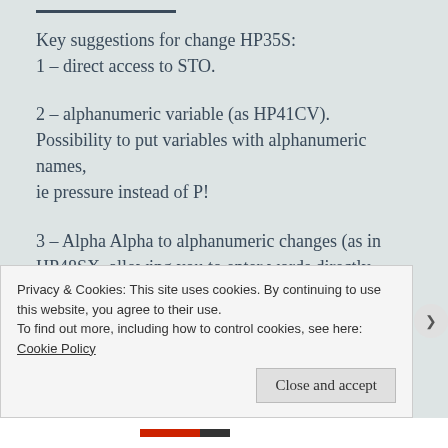Key suggestions for change HP35S:
1 – direct access to STO.
2 – alphanumeric variable (as HP41CV). Possibility to put variables with alphanumeric names,
ie pressure instead of P!
3 – Alpha Alpha to alphanumeric changes (as in HP48SX, allowing you to enter words directly
Privacy & Cookies: This site uses cookies. By continuing to use this website, you agree to their use.
To find out more, including how to control cookies, see here:
Cookie Policy
Close and accept